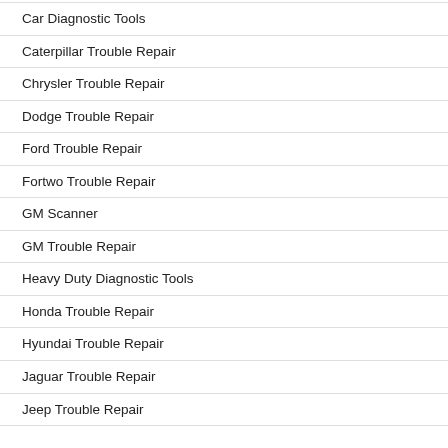Car Diagnostic Tools
Caterpillar Trouble Repair
Chrysler Trouble Repair
Dodge Trouble Repair
Ford Trouble Repair
Fortwo Trouble Repair
GM Scanner
GM Trouble Repair
Heavy Duty Diagnostic Tools
Honda Trouble Repair
Hyundai Trouble Repair
Jaguar Trouble Repair
Jeep Trouble Repair